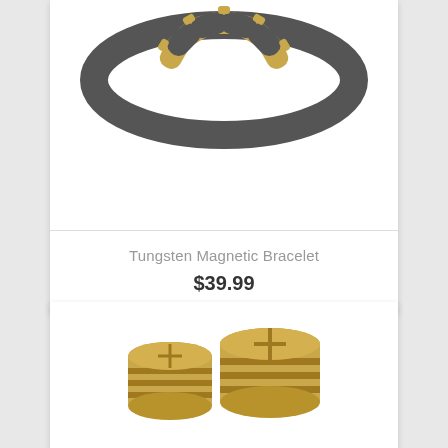[Figure (photo): Gold and silver tungsten magnetic bracelet, top portion visible against white background]
Tungsten Magnetic Bracelet
$39.99
[Figure (photo): Two gold cylindrical herb grinder pieces shown side by side against white background]